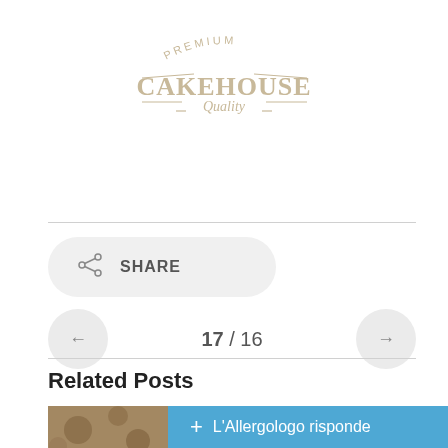[Figure (logo): Premium Cakehouse Quality logo — tan/beige text on white, decorative serif font with curved lines above and below]
SHARE
17 / 16
Related Posts
[Figure (photo): Partial photo of honeycomb with blue overlay banner reading '+ L'Allergologo risponde']